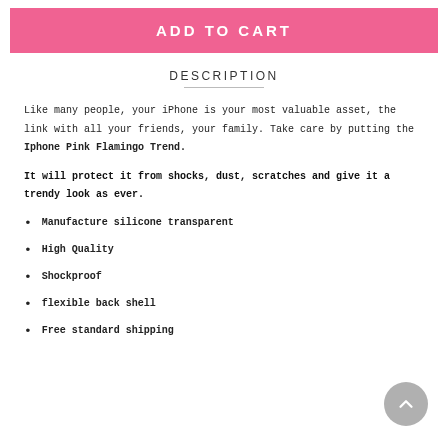ADD TO CART
DESCRIPTION
Like many people, your iPhone is your most valuable asset, the link with all your friends, your family. Take care by putting the Iphone Pink Flamingo Trend.
It will protect it from shocks, dust, scratches and give it a trendy look as ever.
Manufacture silicone transparent
High Quality
Shockproof
flexible back shell
Free standard shipping